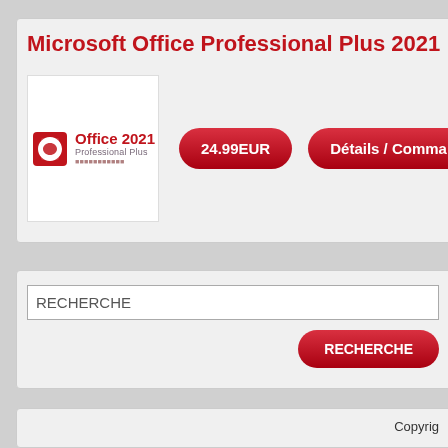Microsoft Office Professional Plus 2021
[Figure (logo): Microsoft Office 2021 Professional Plus product box logo with red/orange swoosh icon and text]
24.99EUR
Détails / Commande
RECHERCHE
RECHERCHE
Copyrig